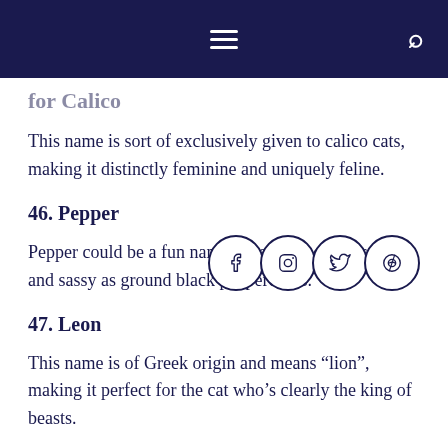This name is sort of exclusively given to calico cats, making it distinctly feminine and uniquely feline.
46. Pepper
Pepper could be a fun name for cats who are as sharp and sassy as ground black peppercorns.
47. Leon
This name is of Greek origin and means “lion”, making it perfect for the cat who’s clearly the king of beasts.